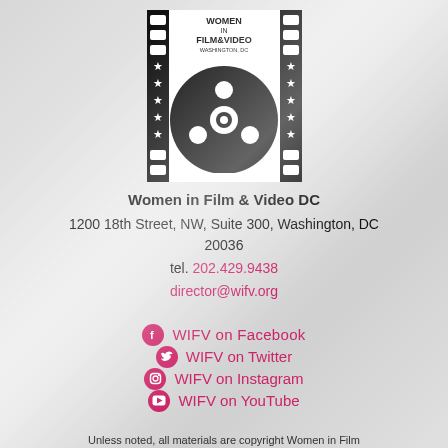[Figure (logo): Women in Film & Video Washington DC logo — film reel with filmstrip border, text 'Women in Film & Video Washington, DC']
Women in Film & Video DC
1200 18th Street, NW, Suite 300, Washington, DC 20036
tel. 202.429.9438
director@wifv.org
WIFV on Facebook
WIFV on Twitter
WIFV on Instagram
WIFV on YouTube
Unless noted, all materials are copyright Women in Film